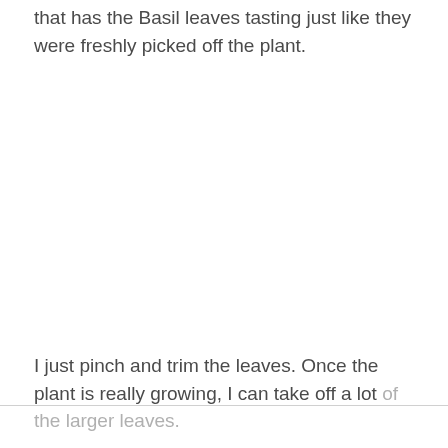that has the Basil leaves tasting just like they were freshly picked off the plant.
I just pinch and trim the leaves. Once the plant is really growing, I can take off a lot of the larger leaves.